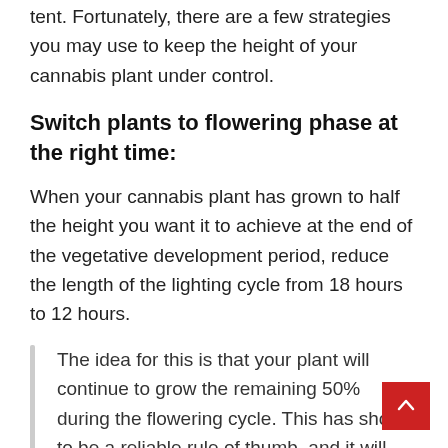tent. Fortunately, there are a few strategies you may use to keep the height of your cannabis plant under control.
Switch plants to flowering phase at the right time:
When your cannabis plant has grown to half the height you want it to achieve at the end of the vegetative development period, reduce the length of the lighting cycle from 18 hours to 12 hours.
The idea for this is that your plant will continue to grow the remaining 50% during the flowering cycle. This has shown to be a reliable rule of thumb, and it will assist you in growing plants